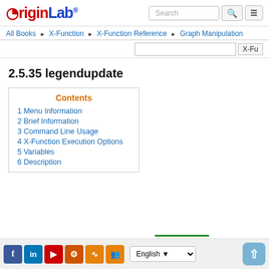[Figure (logo): OriginLab logo with red 'Origin' and blue 'Lab' text]
Search | menu
All Books ▶ X-Function ▶ X-Function Reference ▶ Graph Manipulation
2.5.35 legendupdate
Contents
1 Menu Information
2 Brief Information
3 Command Line Usage
4 X-Function Execution Options
5 Variables
6 Description
Facebook LinkedIn YouTube Settings RSS Group | English | ↑